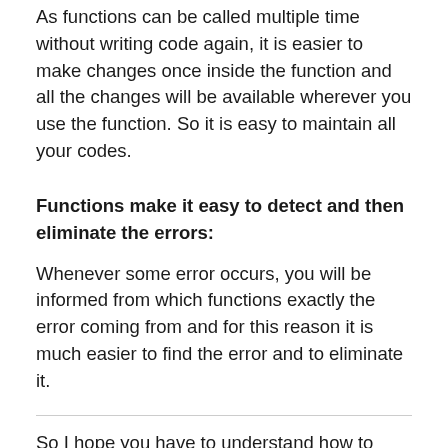As functions can be called multiple time without writing code again, it is easier to make changes once inside the function and all the changes will be available wherever you use the function. So it is easy to maintain all your codes.
Functions make it easy to detect and then eliminate the errors:
Whenever some error occurs, you will be informed from which functions exactly the error coming from and for this reason it is much easier to find the error and to eliminate it.
So I hope you have to understand how to create a function in PHP and what is its usage. Now try to create your own function, taking some time in